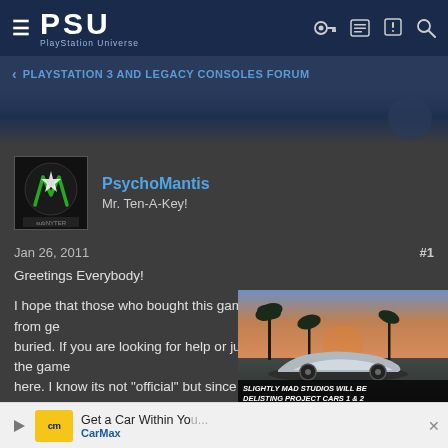PSU — PlayStation Universe
< PLAYSTATION 3 AND LEGACY CONSOLES FORUM
PsychoMantis
Mr. Ten-A-Key!
Jan 26, 2011   #1
Greetings Everybody!

I hope that those who bought this game will keep this thread from getting buried. If you are looking for help or just want to talk about the game do it here. I know its not "official" but since they haven't made a sub forum I hope to get this thread stickyed for as long as the game is active and people play it.


I bought it lastnight and im playing it right now. Im on the first one im...chapter a...
[Figure (screenshot): Car advertisement overlay showing a silver McLaren sports car with palm trees and sunset background. Text reads: SLIGHTLY MAD STUDIOS WILL BE DELISTING PROJECT CARS 1 & 2]
[Figure (screenshot): CarMax advertisement bar at the bottom: Get a Car Within Yo... CarMax]